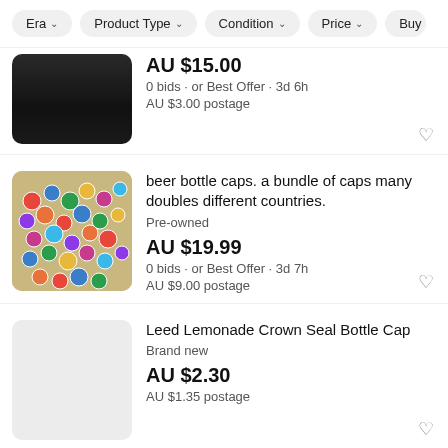Era | Product Type | Condition | Price | Buy
AU $15.00
0 bids · or Best Offer · 3d 6h
AU $3.00 postage
beer bottle caps. a bundle of caps many doubles different countries.
Pre-owned
AU $19.99
0 bids · or Best Offer · 3d 7h
AU $9.00 postage
Leed Lemonade Crown Seal Bottle Cap
Brand new
AU $2.30
AU $1.35 postage